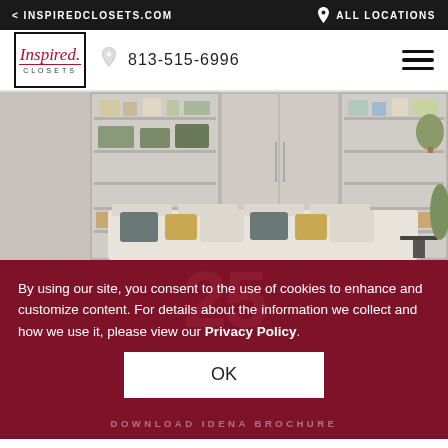< INSPIREDCLOSETS.COM    ♟ ALL LOCATIONS
[Figure (logo): Inspired Closets logo with italic script text 'Inspired.' and 'CLOSETS' below, in a black-bordered box]
813-515-6996
[Figure (photo): Interior living room with built-in shelving units, a sofa with pillows, and woven baskets]
By using our site, you consent to the use of cookies to enhance and customize content. For details about the information we collect and how we use it, please view our Privacy Policy.
OK
DOWNLOAD IDENA BROCHURE